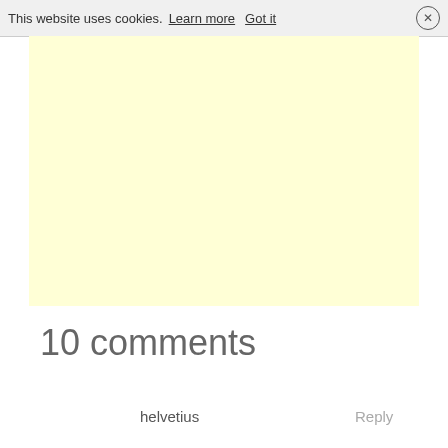This website uses cookies. Learn more   Got it  ×
[Figure (other): Yellow/cream colored advertisement or content placeholder block]
10 comments
helvetius
Reply